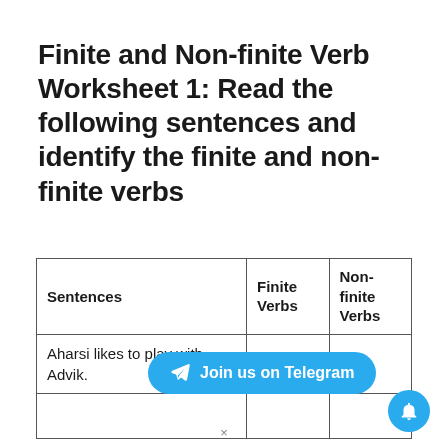Finite and Non-finite Verb Worksheet 1: Read the following sentences and identify the finite and non-finite verbs
| Sentences | Finite Verbs | Non-finite Verbs |
| --- | --- | --- |
| Aharsi likes to play with Advik. |  |  |
| [partial row, cut off] |  |  |